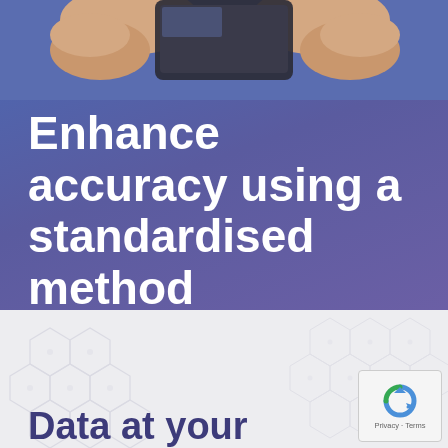[Figure (photo): Hands holding a tablet device, photographed from above against a blue/purple gradient background]
Enhance accuracy using a standardised method
Data at your